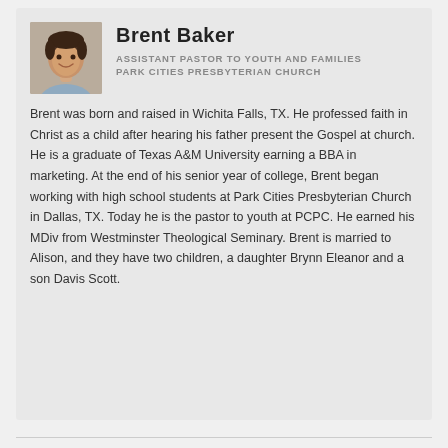[Figure (photo): Headshot photo of Brent Baker, a young man smiling, wearing a light blue shirt]
Brent Baker
ASSISTANT PASTOR TO YOUTH AND FAMILIES
PARK CITIES PRESBYTERIAN CHURCH
Brent was born and raised in Wichita Falls, TX. He professed faith in Christ as a child after hearing his father present the Gospel at church. He is a graduate of Texas A&M University earning a BBA in marketing. At the end of his senior year of college, Brent began working with high school students at Park Cities Presbyterian Church in Dallas, TX. Today he is the pastor to youth at PCPC. He earned his MDiv from Westminster Theological Seminary. Brent is married to Alison, and they have two children, a daughter Brynn Eleanor and a son Davis Scott.